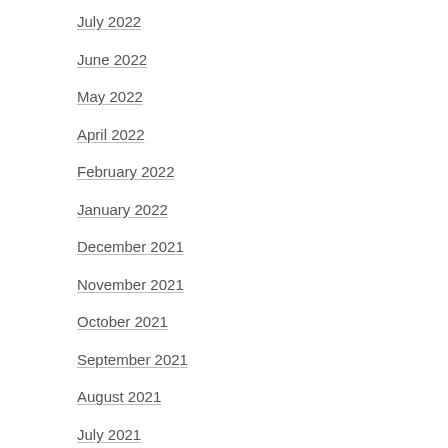July 2022
June 2022
May 2022
April 2022
February 2022
January 2022
December 2021
November 2021
October 2021
September 2021
August 2021
July 2021
June 2021
April 2021